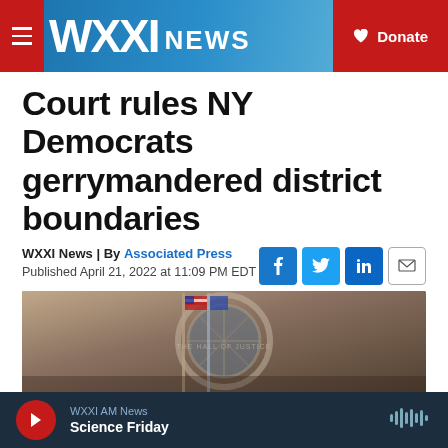WXXI NEWS | Donate
Court rules NY Democrats gerrymandered district boundaries
WXXI News | By Associated Press
Published April 21, 2022 at 11:09 PM EDT
[Figure (photo): Exterior of a courthouse building with American and state flags and a circular architectural element]
WXXI AM News — Science Friday (audio player bar)